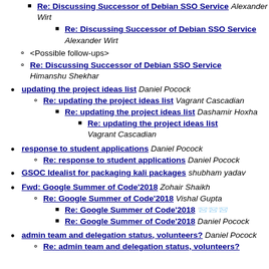Re: Discussing Successor of Debian SSO Service Alexander Wirt (level 3)
Re: Discussing Successor of Debian SSO Service Alexander Wirt (level 4)
<Possible follow-ups> (level 2)
Re: Discussing Successor of Debian SSO Service Himanshu Shekhar (level 2)
updating the project ideas list Daniel Pocock (level 1)
Re: updating the project ideas list Vagrant Cascadian (level 2)
Re: updating the project ideas list Dashamir Hoxha (level 3)
Re: updating the project ideas list Vagrant Cascadian (level 4)
response to student applications Daniel Pocock (level 1)
Re: response to student applications Daniel Pocock (level 2)
GSOC Idealist for packaging kali packages shubham yadav (level 1)
Fwd: Google Summer of Code'2018 Zohair Shaikh (level 1)
Re: Google Summer of Code'2018 Vishal Gupta (level 2)
Re: Google Summer of Code'2018 [emoji] (level 3)
Re: Google Summer of Code'2018 Daniel Pocock (level 3)
admin team and delegation status, volunteers? Daniel Pocock (level 1)
Re: admin team and delegation status, volunteers? (level 2, partial)